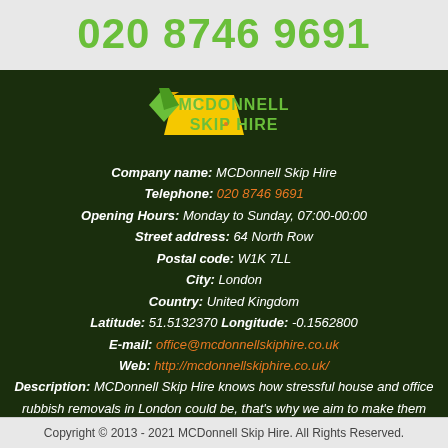020 8746 9691
[Figure (logo): McDonnell Skip Hire logo with yellow skip graphic and green text]
Company name: MCDonnell Skip Hire
Telephone: 020 8746 9691
Opening Hours: Monday to Sunday, 07:00-00:00
Street address: 64 North Row
Postal code: W1K 7LL
City: London
Country: United Kingdom
Latitude: 51.5132370  Longitude: -0.1562800
E-mail: office@mcdonnellskiphire.co.uk
Web: http://mcdonnellskiphire.co.uk/
Description: MCDonnell Skip Hire knows how stressful house and office rubbish removals in London could be, that's why we aim to make them easier for you. Give us a ring on 020 8746 9691!
Copyright © 2013 - 2021 MCDonnell Skip Hire. All Rights Reserved.